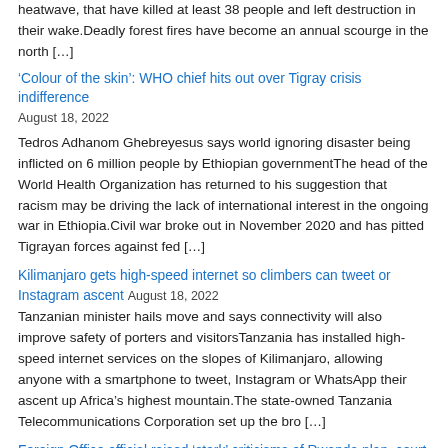heatwave, that have killed at least 38 people and left destruction in their wake.Deadly forest fires have become an annual scourge in the north […]
'Colour of the skin': WHO chief hits out over Tigray crisis indifference
August 18, 2022
Tedros Adhanom Ghebreyesus says world ignoring disaster being inflicted on 6 million people by Ethiopian governmentThe head of the World Health Organization has returned to his suggestion that racism may be driving the lack of international interest in the ongoing war in Ethiopia.Civil war broke out in November 2020 and has pitted Tigrayan forces against fed […]
Kilimanjaro gets high-speed internet so climbers can tweet or Instagram ascent
August 18, 2022
Tanzanian minister hails move and says connectivity will also improve safety of porters and visitorsTanzania has installed high-speed internet services on the slopes of Kilimanjaro, allowing anyone with a smartphone to tweet, Instagram or WhatsApp their ascent up Africa's highest mountain.The state-owned Tanzania Telecommunications Corporation set up the bro […]
Foreign Office official raised 'stark' criticisms of Rwanda plan, court